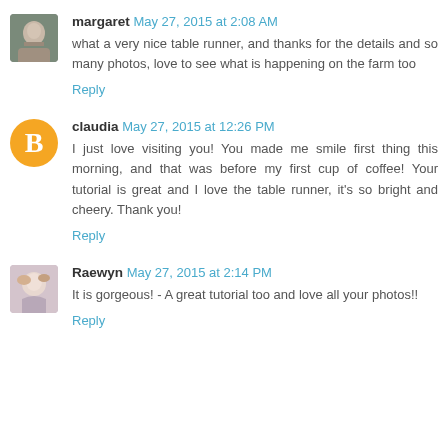margaret May 27, 2015 at 2:08 AM
what a very nice table runner, and thanks for the details and so many photos, love to see what is happening on the farm too
Reply
claudia May 27, 2015 at 12:26 PM
I just love visiting you! You made me smile first thing this morning, and that was before my first cup of coffee! Your tutorial is great and I love the table runner, it's so bright and cheery. Thank you!
Reply
Raewyn May 27, 2015 at 2:14 PM
It is gorgeous! - A great tutorial too and love all your photos!!
Reply